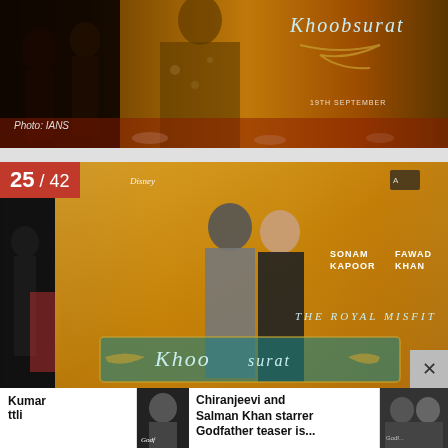[Figure (photo): Top portion of Khoobsurat movie event photo showing people in front of the movie backdrop with golden decorations and 'Khoobsurat' branding visible]
Photo: IANS
[Figure (photo): Main gallery photo showing counter badge '25 / 42' and Khoobsurat movie promotional event with people posing in front of the movie banner featuring 'Sonam Kapoor', 'Fawad Khan', 'The Royal Misfit', 'Khoobsurat' text and Disney/Aditya Chopra branding]
Chiranjeevi and Salman Khan starrer Godfather teaser is...
[Figure (photo): Thumbnail of Godfather movie poster showing a man's face]
[Figure (photo): Thumbnail of another related entertainment article]